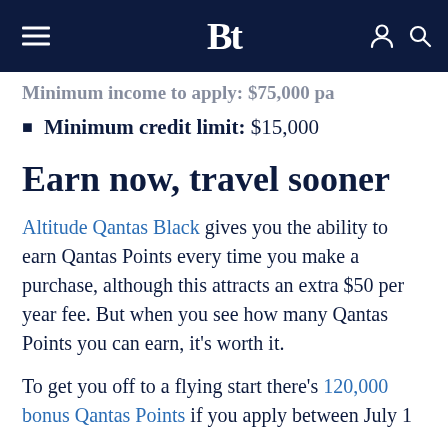Bt (logo), hamburger menu, person icon, search icon
Minimum income to apply: $75,000 pa
Minimum credit limit: $15,000
Earn now, travel sooner
Altitude Qantas Black gives you the ability to earn Qantas Points every time you make a purchase, although this attracts an extra $50 per year fee. But when you see how many Qantas Points you can earn, it’s worth it.
To get you off to a flying start there’s 120,000 bonus Qantas Points if you apply between July 1